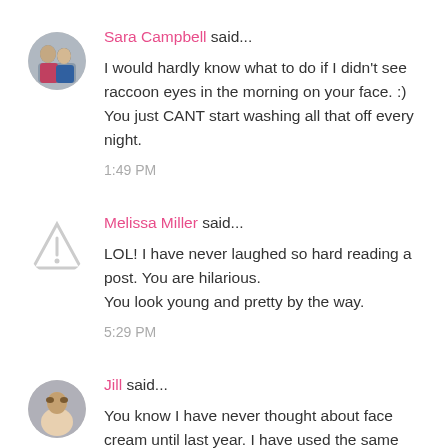[Figure (photo): Circular avatar photo of Sara Campbell showing a couple]
Sara Campbell said...
I would hardly know what to do if I didn't see raccoon eyes in the morning on your face. :) You just CANT start washing all that off every night.
1:49 PM
[Figure (illustration): Warning/placeholder triangle icon avatar for Melissa Miller]
Melissa Miller said...
LOL! I have never laughed so hard reading a post. You are hilarious.
You look young and pretty by the way.
5:29 PM
[Figure (photo): Circular avatar photo of Jill]
Jill said...
You know I have never thought about face cream until last year. I have used the same facial stuff for